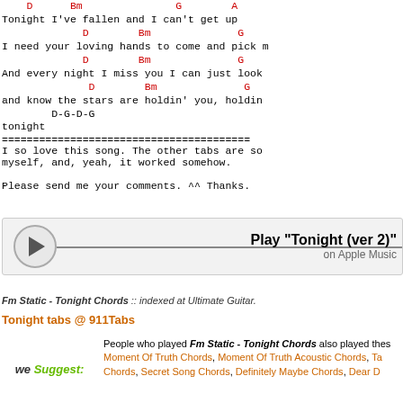D    Bm    G    A
Tonight I've fallen and I can't get up
         D       Bm              G
I need your loving hands to come and pick m
         D       Bm              G
And every night I miss you I can just look
         D       Bm              G
and know the stars are holdin' you, holdin
       D-G-D-G
tonight
========================================
I so love this song. The other tabs are so
myself, and, yeah, it worked somehow.

Please send me your comments. ^^ Thanks.
[Figure (infographic): Play button with text: Play "Tonight (ver 2)" on Apple Music]
Fm Static - Tonight Chords :: indexed at Ultimate Guitar.
Tonight tabs @ 911Tabs
People who played Fm Static - Tonight Chords also played these:
Moment Of Truth Chords, Moment Of Truth Acoustic Chords, Ta
Chords, Secret Song Chords, Definitely Maybe Chords, Dear D